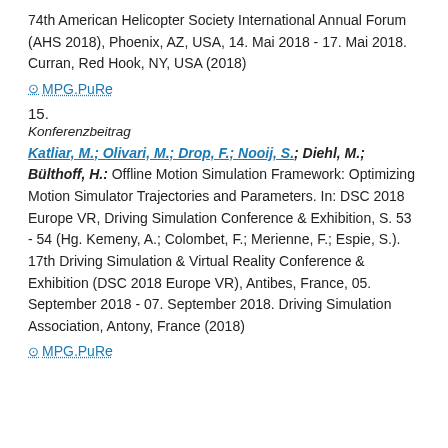74th American Helicopter Society International Annual Forum (AHS 2018), Phoenix, AZ, USA, 14. Mai 2018 - 17. Mai 2018. Curran, Red Hook, NY, USA (2018)
⊙ MPG.PuRe
15.
Konferenzbeitrag
Katliar, M.; Olivari, M.; Drop, F.; Nooij, S.; Diehl, M.; Bülthoff, H.: Offline Motion Simulation Framework: Optimizing Motion Simulator Trajectories and Parameters. In: DSC 2018 Europe VR, Driving Simulation Conference & Exhibition, S. 53 - 54 (Hg. Kemeny, A.; Colombet, F.; Merienne, F.; Espie, S.). 17th Driving Simulation & Virtual Reality Conference & Exhibition (DSC 2018 Europe VR), Antibes, France, 05. September 2018 - 07. September 2018. Driving Simulation Association, Antony, France (2018)
⊙ MPG.PuRe